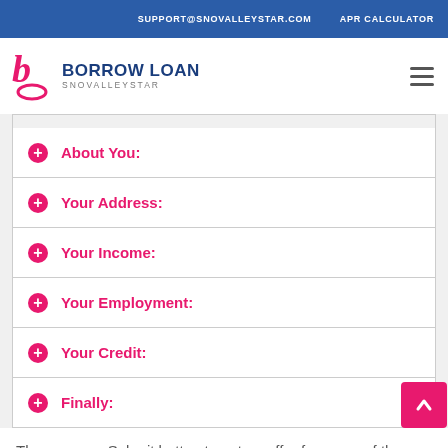SUPPORT@SNOVALLEYSTAR.COM   APR CALCULATOR
[Figure (logo): Borrow Loan SnoValleyStar logo with pink stylized letter b and blue bold text BORROW LOAN with SNOVALLEYSTAR subtitle]
About You:
Your Address:
Your Income:
Your Employment:
Your Credit:
Finally:
Then press a Submit button to get an offer from one of the lending companies.